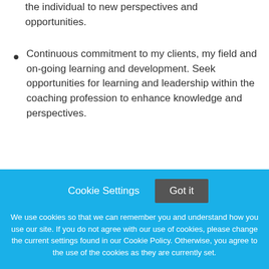the individual to new perspectives and opportunities.
Continuous commitment to my clients, my field and on-going learning and development. Seek opportunities for learning and leadership within the coaching profession to enhance knowledge and perspectives.
What is your coaching philosophy?
Cookie Settings  Got it
We use cookies so that we can remember you and understand how you use our site. If you do not agree with our use of cookies, please change the current settings found in our Cookie Policy. Otherwise, you agree to the use of the cookies as they are currently set.